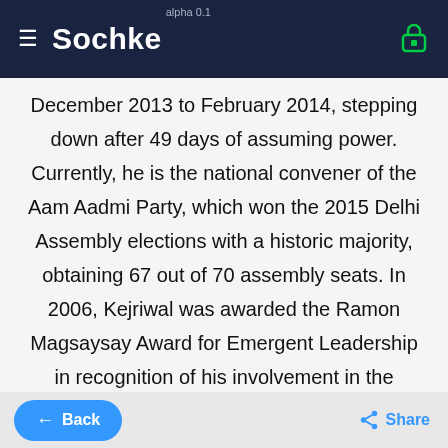≡ Sochke alpha 0.1
December 2013 to February 2014, stepping down after 49 days of assuming power. Currently, he is the national convener of the Aam Aadmi Party, which won the 2015 Delhi Assembly elections with a historic majority, obtaining 67 out of 70 assembly seats. In 2006, Kejriwal was awarded the Ramon Magsaysay Award for Emergent Leadership in recognition of his involvement in the grassroots level movement Parivartan using right to information legislation in a campaign against government corruption. The same year, after resigning from Government service, he donated his Magsaysay award money as a corpus fund to found the Public Cause Research Foundation, a non-governmental organization (NGO). Before